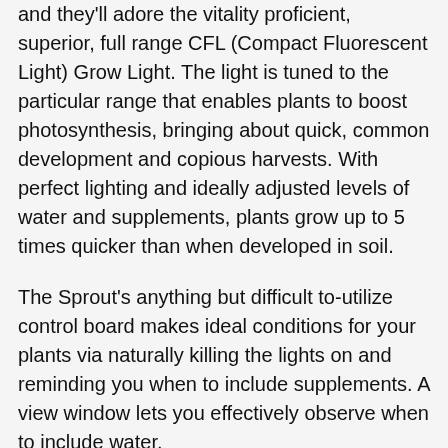and they'll adore the vitality proficient, superior, full range CFL (Compact Fluorescent Light) Grow Light. The light is tuned to the particular range that enables plants to boost photosynthesis, bringing about quick, common development and copious harvests. With perfect lighting and ideally adjusted levels of water and supplements, plants grow up to 5 times quicker than when developed in soil.
The Sprout's anything but difficult to-utilize control board makes ideal conditions for your plants via naturally killing the lights on and reminding you when to include supplements. A view window lets you effectively observe when to include water.
The AeroGarden Sprout sets up in minutes without instruments. Simply embed the Seed Pods in your garden, include water and supplements, and afterward